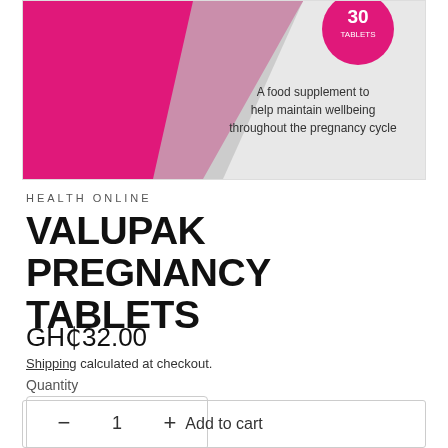[Figure (photo): Product packaging image of Valupak Pregnancy Tablets - 30 tablets box with pink and grey design, showing '30 TABLETS' badge and text 'A food supplement to help maintain wellbeing throughout the pregnancy cycle']
HEALTH ONLINE
VALUPAK PREGNANCY TABLETS
GH₵32.00
Shipping calculated at checkout.
Quantity
− 1 +
Add to cart